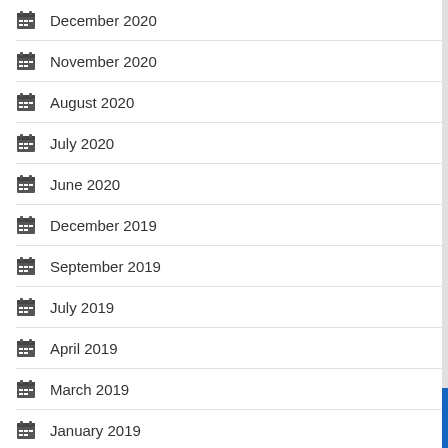December 2020
November 2020
August 2020
July 2020
June 2020
December 2019
September 2019
July 2019
April 2019
March 2019
January 2019
December 2018
November 2018